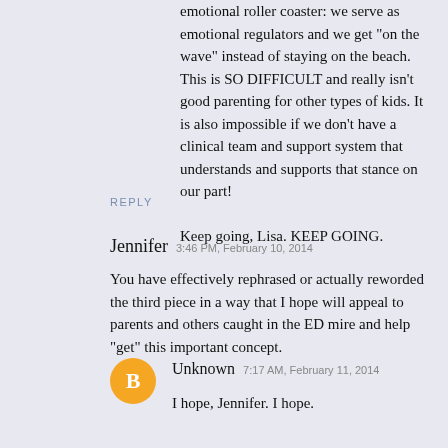emotional roller coaster: we serve as emotional regulators and we get "on the wave" instead of staying on the beach. This is SO DIFFICULT and really isn't good parenting for other types of kids. It is also impossible if we don't have a clinical team and support system that understands and supports that stance on our part!

Keep going, Lisa. KEEP GOING.
REPLY
Jennifer  3:46 PM, February 10, 2014
You have effectively rephrased or actually reworded the third piece in a way that I hope will appeal to parents and others caught in the ED mire and help "get" this important concept.
[Figure (illustration): Orange circle avatar with blogger B icon]
Unknown  7:17 AM, February 11, 2014
I hope, Jennifer. I hope.